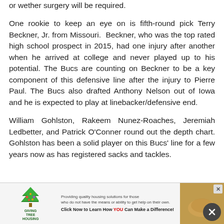or wether surgery will be required.
One rookie to keep an eye on is fifth-round pick Terry Beckner, Jr. from Missouri. Beckner, who was the top rated high school prospect in 2015, had one injury after another when he arrived at college and never played up to his potential. The Bucs are counting on Beckner to be a key component of this defensive line after the injury to Pierre Paul. The Bucs also drafted Anthony Nelson out of Iowa and he is expected to play at linebacker/defensive end.
William Gohlston, Rakeem Nunez-Roaches, Jeremiah Ledbetter, and Patrick O'Conner round out the depth chart. Gohlston has been a solid player on this Bucs' line for a few years now as has registered sacks and tackles.
[Figure (other): Advertisement banner for Giving Tree Housing organization with logo, text about providing quality housing solutions, a call to action, and a photo of hands.]